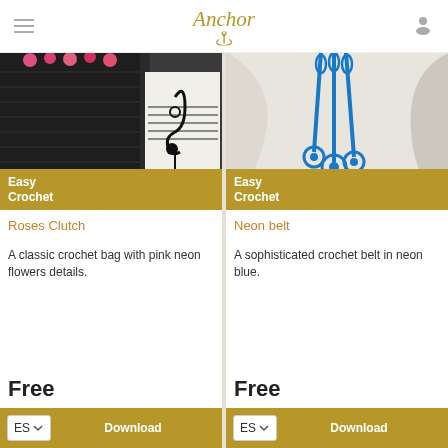Anchor
[Figure (photo): Crochet roses clutch bag on dark fabric background with musical score paper]
Easy Crochet
Roses Clutch
A classic crochet bag with pink neon flowers details.
Free
[Figure (photo): Blue crochet neon belt hanging against white curtain background]
Easy Crochet
Neon belt
A sophisticated crochet belt in neon blue.
Free